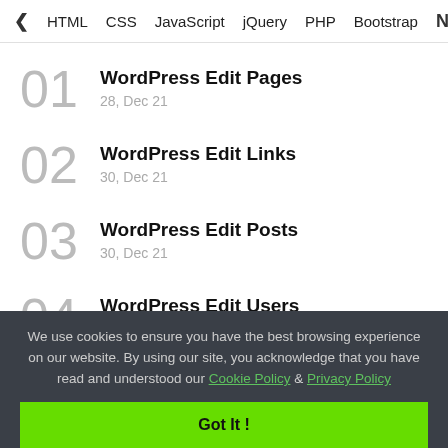< HTML  CSS  JavaScript  jQuery  PHP  Bootstrap  N>
01  WordPress Edit Pages  28, Dec 21
02  WordPress Edit Links  30, Dec 21
03  WordPress Edit Posts  30, Dec 21
04  WordPress Edit Users  09, Jan 21
We use cookies to ensure you have the best browsing experience on our website. By using our site, you acknowledge that you have read and understood our Cookie Policy & Privacy Policy
Got It !